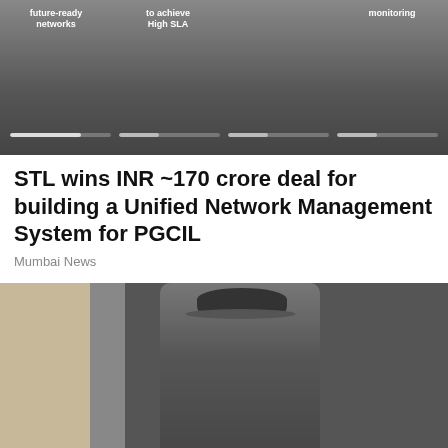[Figure (screenshot): A dark banner/slider UI with text labels: 'future-ready networks', 'to achieve High SLA', 'monitoring', and four progress bar indicators at the bottom.]
STL wins INR ~170 crore deal for building a Unified Network Management System for PGCIL
Mumbai News
[Figure (photo): A black-and-white style photograph of an elderly man in a pinstripe suit and white fedora hat, standing outdoors on a street.]
Sony Pictures Classics acquires rights to Bill